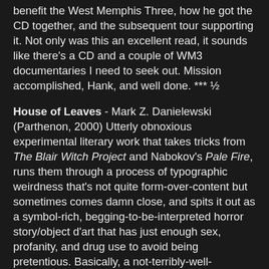benefit the West Memphis Three, how he got the CD together, and the subsequent tour supporting it. Not only was this an excellent read, it sounds like there's a CD and a couple of WM3 documentaries I need to seek out. Mission accomplished, Hank, and well done. *** ½
House of Leaves - Mark Z. Danielewski (Parthenon, 2000) Utterly obnoxious experimental literary work that takes tricks from The Blair Witch Project and Nabokov's Pale Fire, runs them through a process of typographic weirdness that's not quite form-over-content but sometimes comes damn close, and spits it out as a symbol-rich, begging-to-be-interpreted horror story/object d'art that has just enough sex, profanity, and drug use to avoid being pretentious. Basically, a not-terribly-well-balanced guy named Johnny Truant finds a manuscript in the house of a dead old man and becomes so obsessed with editing it that he becomes insane. The manuscript - also obsessive, also possibly insane - is a study of a documentary called The Navidson Record, which is about a filmmaker's house that contains shifting, infinitely-large, freezing dark rooms, stairways, and hallways, despite the fact that the outside of the house is small. He films